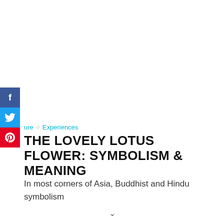[Figure (other): Social share sidebar with Facebook (blue), Twitter (cyan), and Pinterest (red) buttons on the left edge]
ure ◇ Experiences
THE LOVELY LOTUS FLOWER: SYMBOLISM & MEANING
In most corners of Asia, Buddhist and Hindu symbolism